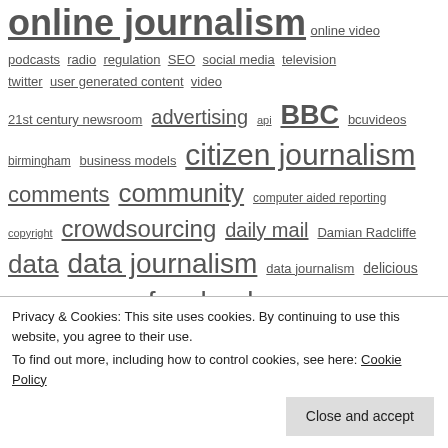online journalism (partial, top) online video podcasts radio regulation SEO social media television twitter user generated content video
21st century newsroom advertising api BBC bcuvideos birmingham business models citizen journalism comments community computer aided reporting copyright crowdsourcing daily mail Damian Radcliffe data data journalism data journalism delicious enterprise ethics facebook foi future journalism google google refine Guardian help me investigate Hyperlocal Hyperlocal Voices Independent interactivity
Privacy & Cookies: This site uses cookies. By continuing to use this website, you agree to their use. To find out more, including how to control cookies, see here: Cookie Policy
Close and accept